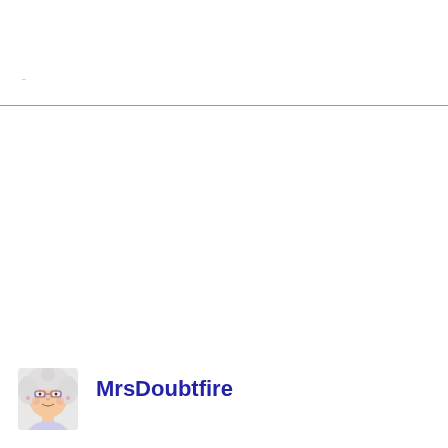[Figure (illustration): Small circular avatar portrait of an elderly woman with glasses and white hair, resembling Mrs. Doubtfire character]
MrsDoubtfire